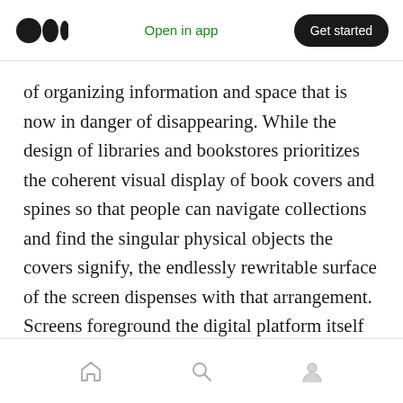Open in app | Get started
of organizing information and space that is now in danger of disappearing. While the design of libraries and bookstores prioritizes the coherent visual display of book covers and spines so that people can navigate collections and find the singular physical objects the covers signify, the endlessly rewritable surface of the screen dispenses with that arrangement. Screens foreground the digital platform itself as singular, and thereby assimilate any particular text into the theoretically unlimited succession of information they can display. The distinct
Home | Search | Profile